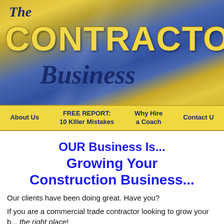[Figure (logo): The Contractor Business website header banner with yellow and blue gradient background showing 'The CONTRACTOR Business' text]
About Us | FREE REPORT: 10 KIller Mistakes | Why Hire a Coach | Contact U...
OUR Business Is...
Growing Your Construction Business...
Our clients have been doing great. Have you?
If you are a commercial trade contractor looking to grow your b... the right place!
Here's what we do...
We...